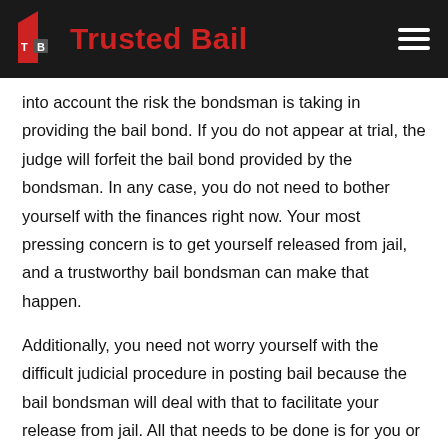Trusted Bail
into account the risk the bondsman is taking in providing the bail bond. If you do not appear at trial, the judge will forfeit the bail bond provided by the bondsman. In any case, you do not need to bother yourself with the finances right now. Your most pressing concern is to get yourself released from jail, and a trustworthy bail bondsman can make that happen.
Additionally, you need not worry yourself with the difficult judicial procedure in posting bail because the bail bondsman will deal with that to facilitate your release from jail. All that needs to be done is for you or someone else to